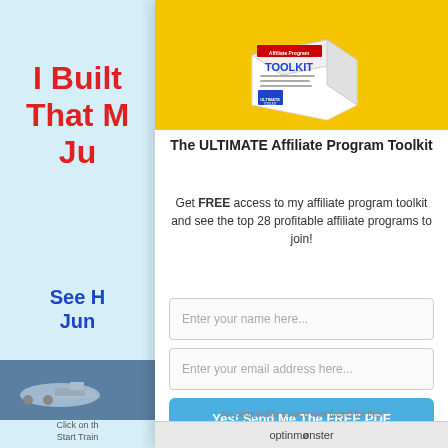I Built... That M... Ju...
See H... Jun...
Click on th... Start Train...
[Figure (photo): Product box illustration of the Ultimate Affiliate Program Toolkit on a yellow background]
The ULTIMATE Affiliate Program Toolkit
Get FREE access to my affiliate program toolkit and see the top 28 profitable affiliate programs to join!
Enter your name here...
Enter your email address here...
Yes! Send Me The FREE PDF
No compatible source was found for this media.
optinmonster